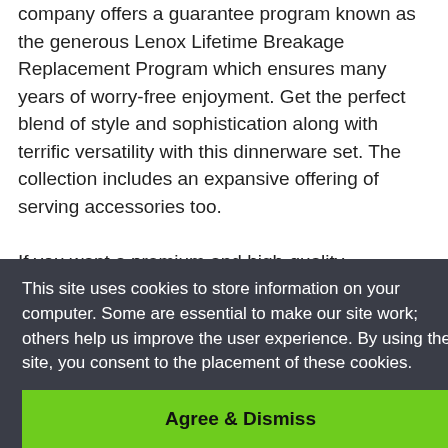company offers a guarantee program known as the generous Lenox Lifetime Breakage Replacement Program which ensures many years of worry-free enjoyment. Get the perfect blend of style and sophistication along with terrific versatility with this dinnerware set. The collection includes an expansive offering of serving accessories too.

If you want a premium and high-quality dinnerware set, we would suggest that you consider any one of the above for your purchase. Get the best dinnerware set
are
y also make appropriate purchases of dinnerware sets
This site uses cookies to store information on your computer. Some are essential to make our site work; others help us improve the user experience. By using the site, you consent to the placement of these cookies.
Agree & Dismiss